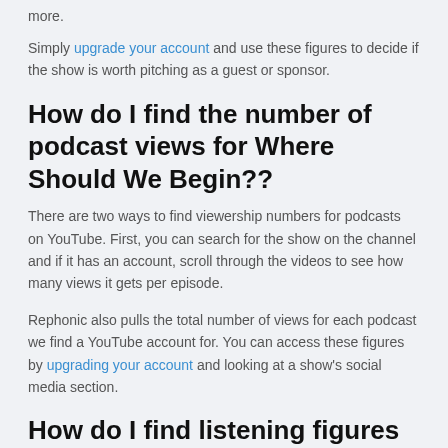more.
Simply upgrade your account and use these figures to decide if the show is worth pitching as a guest or sponsor.
How do I find the number of podcast views for Where Should We Begin??
There are two ways to find viewership numbers for podcasts on YouTube. First, you can search for the show on the channel and if it has an account, scroll through the videos to see how many views it gets per episode.
Rephonic also pulls the total number of views for each podcast we find a YouTube account for. You can access these figures by upgrading your account and looking at a show's social media section.
How do I find listening figures for Where Should We Begin??